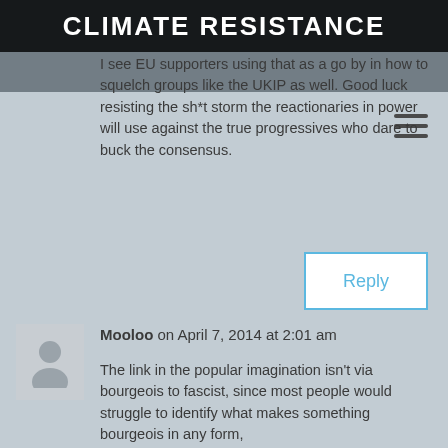CLIMATE RESISTANCE
I see EU supporters using that as a go by in how to squelch groups like the UKIP as well. Good luck resisting the sh*t storm the reactionaries in power will use against the true progressives who dare to buck the consensus.
Reply
Mooloo on April 7, 2014 at 2:01 am
The link in the popular imagination isn't via bourgeois to fascist, since most people would struggle to identify what makes something bourgeois in any form,
The link is via nationalist = racist, because keeping our foreigners supposedly means keeping out darkies. (Never mind that it means keeping out christian white people like Poles